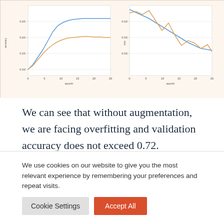[Figure (line-chart): Two line charts side by side showing training and validation accuracy/loss curves over epochs (0-25). Left chart shows accuracy rising from ~0.50 to ~0.65 (two lines: blue and orange). Right chart shows a metric declining from ~0.60 to ~0.50 with oscillations. Both have epoch on x-axis.]
We can see that without augmentation, we are facing overfitting and validation accuracy does not exceed 0.72.
On the other hand, with augmentation, there is no overfitting. Validation metrics are continuously
We use cookies on our website to give you the most relevant experience by remembering your preferences and repeat visits.